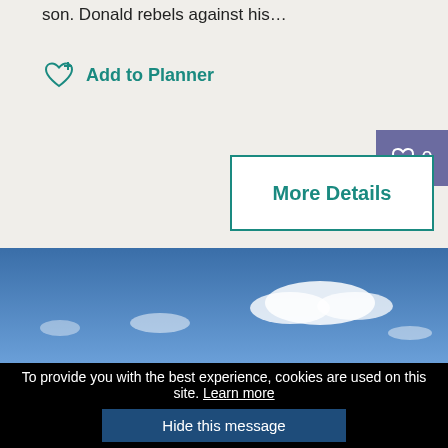son. Donald rebels against his…
Add to Planner
[Figure (screenshot): More Details button with teal border and teal bold text, plus a purple/slate like badge showing a heart icon and 0]
[Figure (photo): Blue sky with scattered white clouds]
To provide you with the best experience, cookies are used on this site. Learn more
Hide this message